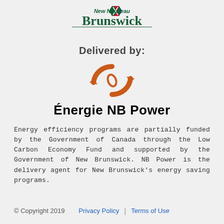[Figure (logo): New Brunswick / Nouveau-Brunswick provincial government logo with stylized flag graphic and bilingual text]
Delivered by:
[Figure (logo): Énergie NB Power logo — two orange recycling arrows forming a circular symbol]
Énergie NB Power
Energy efficiency programs are partially funded by the Government of Canada through the Low Carbon Economy Fund and supported by the Government of New Brunswick. NB Power is the delivery agent for New Brunswick's energy saving programs.
© Copyright 2019   Privacy Policy | Terms of Use